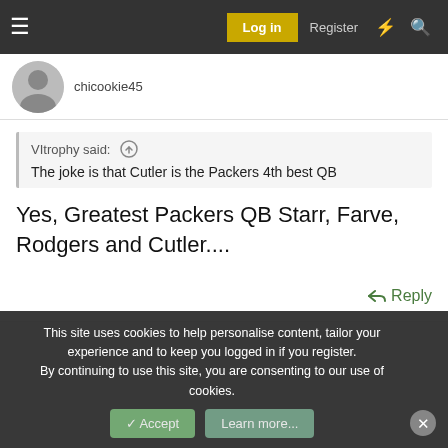Log in  Register
chicookie45
VItrophy said: ↑
The joke is that Cutler is the Packers 4th best QB
Yes, Greatest Packers QB Starr, Farve, Rodgers and Cutler....
↩ Reply
This site uses cookies to help personalise content, tailor your experience and to keep you logged in if you register.
By continuing to use this site, you are consenting to our use of cookies.
✓ Accept  Learn more...